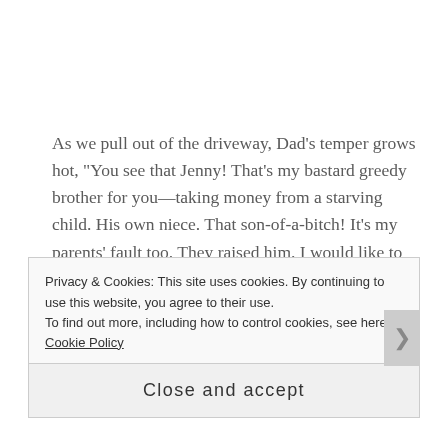As we pull out of the driveway, Dad’s temper grows hot, “You see that Jenny! That’s my bastard greedy brother for you—taking money from a starving child. His own niece. That son-of-a-bitch! It’s my parents’ fault too. They raised him. I would like to bring them both back to life and beat them over and over again, but not let them die. My brother deserves to sleep with that ugly cow every night. I remember when he and Gerry came to Gloria’s
Privacy & Cookies: This site uses cookies. By continuing to use this website, you agree to their use.
To find out more, including how to control cookies, see here: Cookie Policy
Close and accept